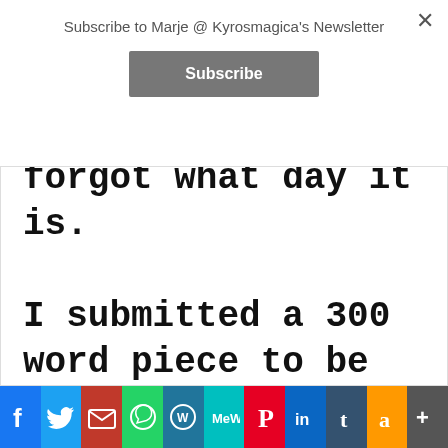Subscribe to Marje @ Kyrosmagica's Newsletter
forgot what day it is.

I submitted a 300 word piece to be featured in Writers Write – CoVID-19 Reflections on Quarantine Schools
[Figure (infographic): Social sharing bar with icons: Facebook, Twitter, Email, WhatsApp, WordPress, MeWe, Pinterest, LinkedIn, Tumblr, Amazon, More]